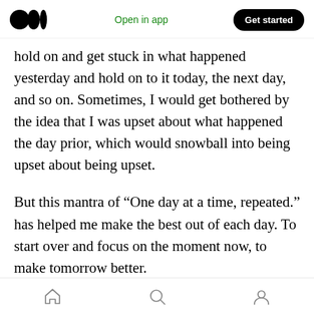Medium logo | Open in app | Get started
hold on and get stuck in what happened yesterday and hold on to it today, the next day, and so on. Sometimes, I would get bothered by the idea that I was upset about what happened the day prior, which would snowball into being upset about being upset.
But this mantra of “One day at a time, repeated.” has helped me make the best out of each day. To start over and focus on the moment now, to make tomorrow better.
We can get caught up in the past so much that
Home | Search | Profile